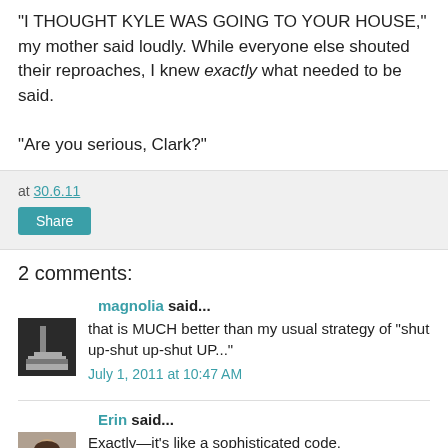"I THOUGHT KYLE WAS GOING TO YOUR HOUSE," my mother said loudly. While everyone else shouted their reproaches, I knew exactly what needed to be said.

"Are you serious, Clark?"
at 30.6.11
Share
2 comments:
magnolia said...
that is MUCH better than my usual strategy of "shut up-shut up-shut UP..."
July 1, 2011 at 10:47 AM
Erin said...
Exactly—it's like a sophisticated code.